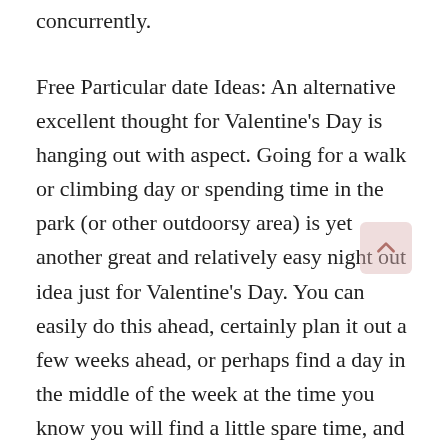concurrently.
Free Particular date Ideas: An alternative excellent thought for Valentine’s Day is hanging out with aspect. Going for a walk or climbing day or spending time in the park (or other outdoorsy area) is yet another great and relatively easy night out idea just for Valentine’s Day. You can easily do this ahead, certainly plan it out a few weeks ahead, or perhaps find a day in the middle of the week at the time you know you will find a little spare time, and then go for it. Have some nibbles ready to have fun with on the hike, talk about every single other’s most desired things, and soon you’ll have an incredible